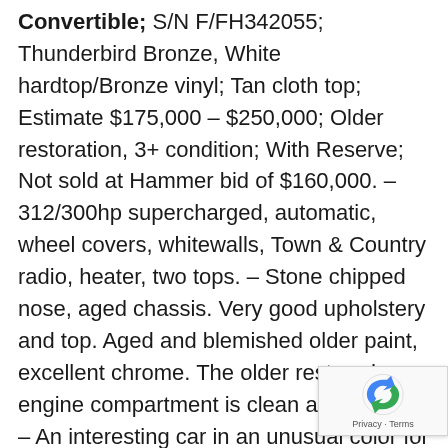Convertible; S/N F/FH342055; Thunderbird Bronze, White hardtop/Bronze vinyl; Tan cloth top; Estimate $175,000 – $250,000; Older restoration, 3+ condition; With Reserve; Not sold at Hammer bid of $160,000. – 312/300hp supercharged, automatic, wheel covers, whitewalls, Town & Country radio, heater, two tops. – Stone chipped nose, aged chassis. Very good upholstery and top. Aged and blemished older paint, excellent chrome. The older restored engine compartment is clean and orderly. – An interesting car in an unusual color for an F-Bird but its condition is seriously aged and the reported high bid should have been more than enough to satisfy the consignor, especially since it was bid to essentially the same value ($155,000) at Indy eight months ago. The buyers have stated their